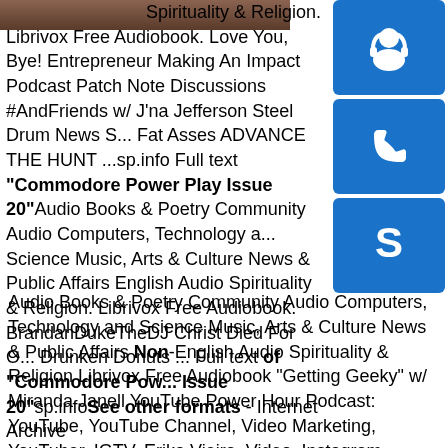[Figure (photo): Partial image visible at top left, appears to be a brown/dark colored photo strip]
[Figure (illustration): Blue square button with white headphones/person icon]
[Figure (illustration): Blue square button with white phone icon]
[Figure (illustration): Blue square button with white Skype logo icon]
Spirituality & Religion. Librivox Free Audiobook. Love You, Bye! Entrepreneur Making An Impact Podcast Patch Note Discussions #AndFriends w/ J'na Jefferson Steel Drum News S... Fat Asses ADVANCE THE HUNT ...sp.info Full text "Commodore Power Play Issue 20"Audio Books & Poetry Community Audio Computers, Technology a... Science Music, Arts & Culture News & Public Affairs English Audio Spirituality & Religion. Librivox Free Audiobook. BrandanDukeTheDJ Christ Died For O... Drunken Donuts ... Full text of "Commodore Pow... Issue 20"sp.infoSee other formats - Internet ArchiveAudio Books & Poetry Community Audio Computers, Technology and Science Music, Arts & Culture News & Public Affairs Non-English Audio Spirituality & Religion Librivox Free Audiobook "Getting Geeky" w/ Miranda Janell YouTube Power Hour Podcast: YouTube, YouTube Channel, Video Marketing, YouTuber, IGTV, Erika Vieira, Video, Instagram ElectraTone ...sp.info Full text of